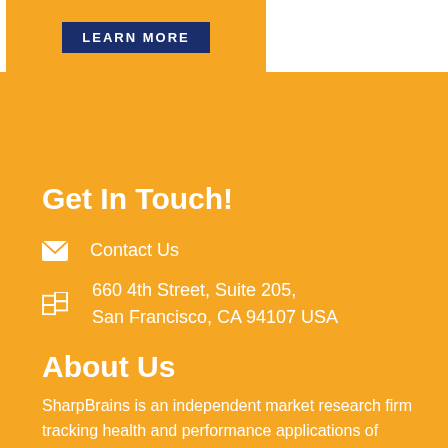[Figure (screenshot): Top portion showing a yellow/orange banner with a dark blue 'LEARN MORE' button]
Get In Touch!
Contact Us
660 4th Street, Suite 205, San Francisco, CA 94107 USA
About Us
SharpBrains is an independent market research firm tracking health and performance applications of brain science. We prepare general and tailored market reports, publish consumer guides, produce